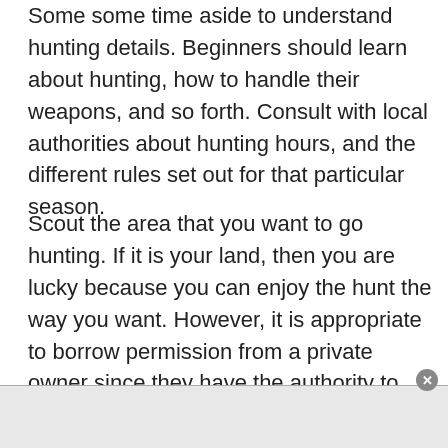Some some time aside to understand hunting details. Beginners should learn about hunting, how to handle their weapons, and so forth. Consult with local authorities about hunting hours, and the different rules set out for that particular season.
Scout the area that you want to go hunting. If it is your land, then you are lucky because you can enjoy the hunt the way you want. However, it is appropriate to borrow permission from a private owner since they have the authority to order for your arrest if they find you doing so without their consent. Make sure that you visit the field to be familiar with the area, and to